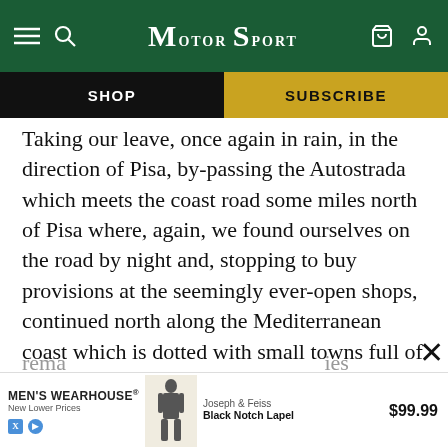MotorSport
Taking our leave, once again in rain, in the direction of Pisa, by-passing the Autostrada which meets the coast road some miles north of Pisa where, again, we found ourselves on the road by night and, stopping to buy provisions at the seemingly ever-open shops, continued north along the Mediterranean coast which is dotted with small towns full of hotels and pensions, restaurants and bars. Soon after La Spezia the road goes inland and over the Bracco pass through heavily-wooded country where one encounters enormous lorries negotiating rema... carries...
[Figure (screenshot): MEN'S WEARHOUSE advertisement showing Joseph & Feiss Black Notch Lapel suit for $99.99]